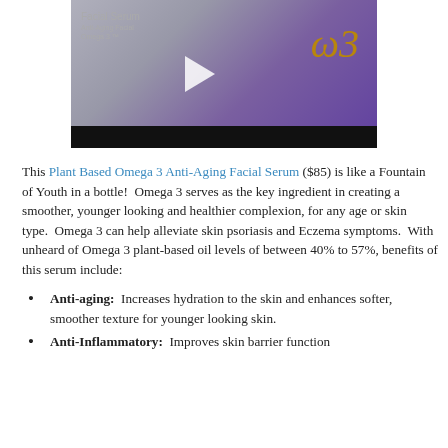[Figure (screenshot): Video thumbnail showing a purple facial serum bottle with a play button, label text 'Facial Serum', and a black bottom bar]
This Plant Based Omega 3 Anti-Aging Facial Serum ($85) is like a Fountain of Youth in a bottle!  Omega 3 serves as the key ingredient in creating a smoother, younger looking and healthier complexion, for any age or skin type.  Omega 3 can help alleviate skin psoriasis and Eczema symptoms.  With unheard of Omega 3 plant-based oil levels of between 40% to 57%, benefits of this serum include:
Anti-aging:  Increases hydration to the skin and enhances softer, smoother texture for younger looking skin.
Anti-Inflammatory:  Improves skin barrier function